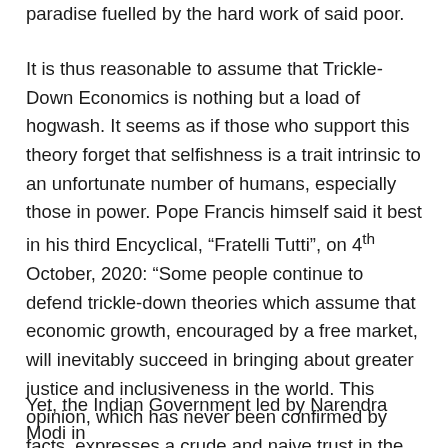paradise fuelled by the hard work of said poor.
It is thus reasonable to assume that Trickle-Down Economics is nothing but a load of hogwash. It seems as if those who support this theory forget that selfishness is a trait intrinsic to an unfortunate number of humans, especially those in power. Pope Francis himself said it best in his third Encyclical, “Fratelli Tutti”, on 4th October, 2020: “Some people continue to defend trickle-down theories which assume that economic growth, encouraged by a free market, will inevitably succeed in bringing about greater justice and inclusiveness in the world. This opinion, which has never been confirmed by facts, expresses a crude and naive trust in the goodness of those wielding economic power and in the sacralised workings of the prevailing economic system.”
Yet, the Indian Government led by Narendra Modi in